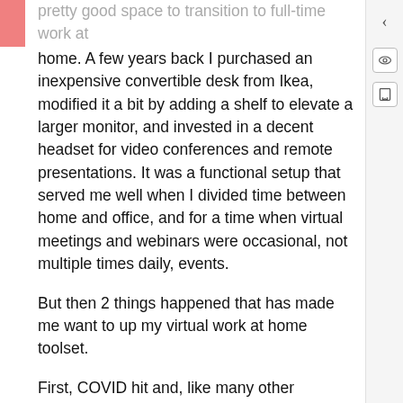pretty good space to transition to full-time work at home. A few years back I purchased an inexpensive convertible desk from Ikea, modified it a bit by adding a shelf to elevate a larger monitor, and invested in a decent headset for video conferences and remote presentations. It was a functional setup that served me well when I divided time between home and office, and for a time when virtual meetings and webinars were occasional, not multiple times daily, events.
But then 2 things happened that has made me want to up my virtual work at home toolset.
First, COVID hit and, like many other organizations, BCcampus went fully virtual, as did every institution in the province with whom I work closely with. Second, I picked up another sessional online teaching position at the University of Victoria to go along with the